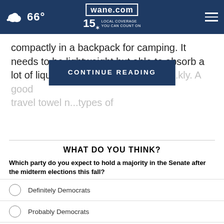66° | wane.com 15 LOCAL COVERAGE YOU CAN COUNT ON
compactly in a backpack for camping. It needs to be lightweight but able to absorb a lot of liquid. It needs to dry you off w...kly. A good travel towel n...types of
CONTINUE READING
WHAT DO YOU THINK?
Which party do you expect to hold a majority in the Senate after the midterm elections this fall?
Definitely Democrats
Probably Democrats
Probably Republicans
Definitely Republicans